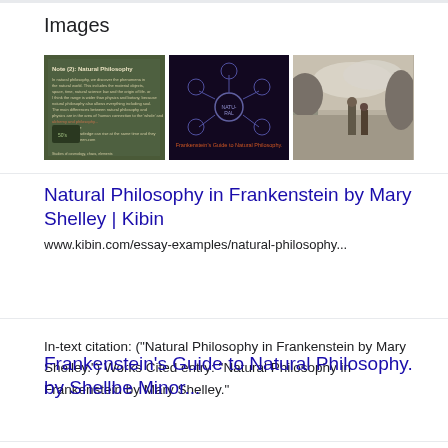Images
[Figure (screenshot): Three thumbnail images related to Natural Philosophy in Frankenstein: 1) A greenish slide with text 'Note (2): Natural Philosophy', 2) A dark mind-map slide titled 'Frankenstein's Guide to Natural Philosophy.', 3) A sepia historical illustration of figures in a landscape]
Natural Philosophy in Frankenstein by Mary Shelley | Kibin
www.kibin.com/essay-examples/natural-philosophy...
In-text citation: ("Natural Philosophy in Frankenstein by Mary Shelley.") Works Cited entry: "Natural Philosophy in Frankenstein by Mary Shelley."
Frankenstein's Guide to Natural Philosophy.
by Shellbe Minor...